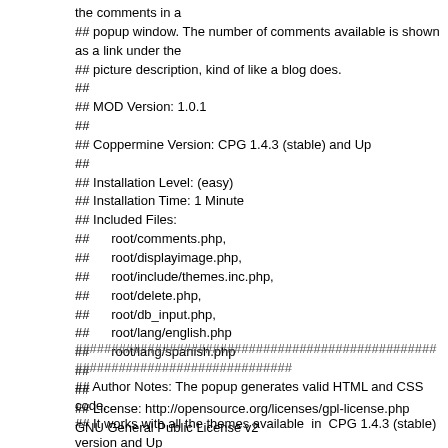the comments in a
## popup window. The number of comments available is shown as a link under the
## picture description, kind of like a blog does.
##
## MOD Version: 1.0.1
##
## Coppermine Version: CPG 1.4.3 (stable) and Up
##
## Installation Level: (easy)
## Installation Time: 1 Minute
## Included Files:
##      root/comments.php,
##      root/displayimage.php,
##      root/include/themes.inc.php,
##      root/delete.php,
##      root/db_input.php,
##      root/lang/english.php
##      root/lang/spanish.php
##
##
## License: http://opensource.org/licenses/gpl-license.php GNU General Public License v2
################################################################################
## Author Notes: The popup generates valid HTML and CSS code.
## It works with all the themes available  in  CPG 1.4.3 (stable) version and Up
## Deleting, updating and posting  comments is done within